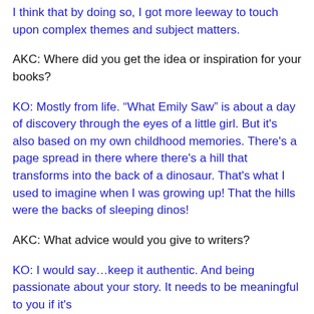I think that by doing so, I got more leeway to touch upon complex themes and subject matters.
AKC: Where did you get the idea or inspiration for your books?
KO: Mostly from life. “What Emily Saw” is about a day of discovery through the eyes of a little girl. But it's also based on my own childhood memories. There's a page spread in there where there's a hill that transforms into the back of a dinosaur. That's what I used to imagine when I was growing up! That the hills were the backs of sleeping dinos!
AKC: What advice would you give to writers?
KO: I would say…keep it authentic. And being passionate about your story. It needs to be meaningful to you if it's